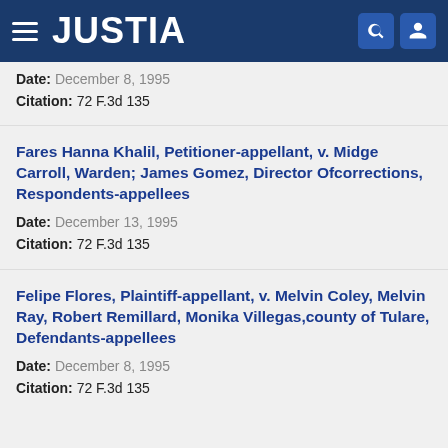JUSTIA
Date: December 8, 1995
Citation: 72 F.3d 135
Fares Hanna Khalil, Petitioner-appellant, v. Midge Carroll, Warden; James Gomez, Director Ofcorrections, Respondents-appellees
Date: December 13, 1995
Citation: 72 F.3d 135
Felipe Flores, Plaintiff-appellant, v. Melvin Coley, Melvin Ray, Robert Remillard, Monika Villegas,county of Tulare, Defendants-appellees
Date: December 8, 1995
Citation: 72 F.3d 135